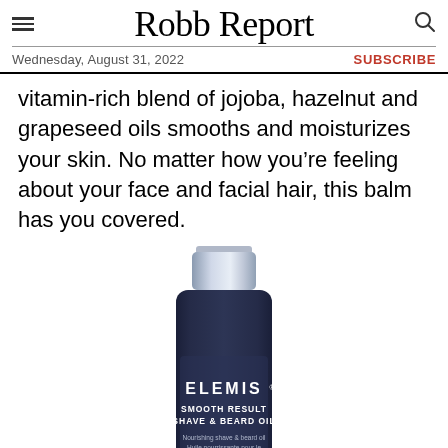Robb Report — Wednesday, August 31, 2022 — SUBSCRIBE
vitamin-rich blend of jojoba, hazelnut and grapeseed oils smooths and moisturizes your skin. No matter how you’re feeling about your face and facial hair, this balm has you covered.
[Figure (photo): ELEMIS Smooth Result Shave & Beard Oil product bottle — dark navy blue bottle with silver cap, label reading ELEMIS SMOOTH RESULT SHAVE & BEARD OIL Nourishing shave & beard oil / Huile nourrissante pour le rasage et la barbe MEN]